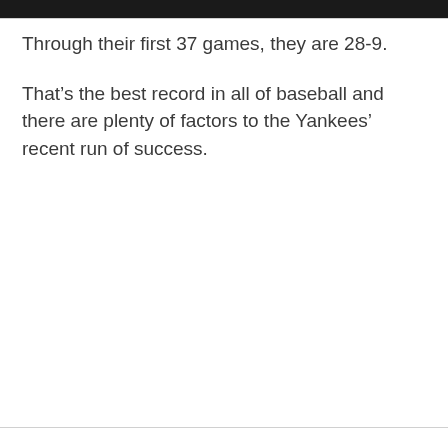Through their first 37 games, they are 28-9.
That’s the best record in all of baseball and there are plenty of factors to the Yankees’ recent run of success.